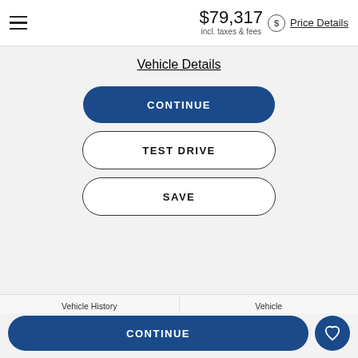$79,317 incl. taxes & fees — Price Details
Vehicle Details
CONTINUE
TEST DRIVE
SAVE
Vehicle History Report
[Figure (logo): CARFAX Vehicle History Reports logo]
Vehicle Records
[Figure (logo): Vehicle Records powered by AutoPacket.com logo]
CONTINUE